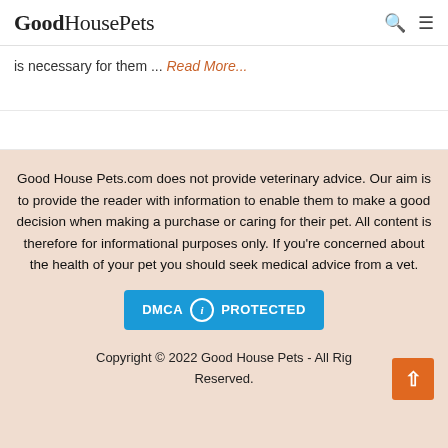GoodHousePets
is necessary for them ... Read More...
Good House Pets.com does not provide veterinary advice. Our aim is to provide the reader with information to enable them to make a good decision when making a purchase or caring for their pet. All content is therefore for informational purposes only. If you're concerned about the health of your pet you should seek medical advice from a vet.
[Figure (logo): DMCA Protected badge — blue background with DMCA text, circular i icon, and PROTECTED text]
Copyright © 2022 Good House Pets - All Rights Reserved.